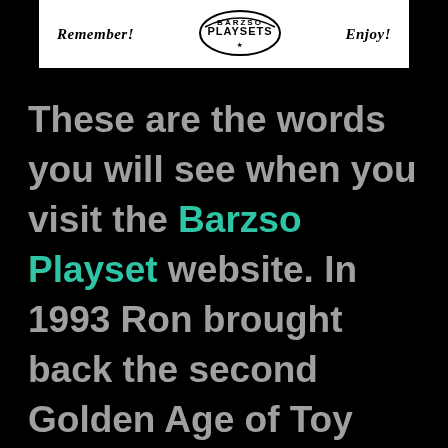[Figure (logo): Barzso Playsets logo banner with 'Remember!' on the left, circular logo in center, and 'Enjoy!' on the right, on a white background]
These are the words you will see when you visit the Barzso Playset website. In 1993 Ron brought back the second Golden Age of Toy Soldier Playsets. Barzso Playsets released their first playset “Roger’s Rangers, In the Attack on St. Francis”.